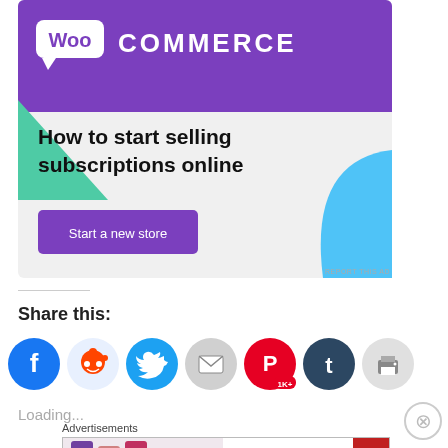[Figure (screenshot): WooCommerce advertisement banner with purple header, WooCommerce logo, green triangle shape, blue curved shape, headline text 'How to start selling subscriptions online', and a purple 'Start a new store' button.]
Share this:
[Figure (infographic): Row of social sharing icon buttons: Facebook (blue), Reddit (light blue), Twitter (blue), Email (grey), Pinterest (red, 1K+ badge), Tumblr (dark blue), Print (grey)]
Loading...
Advertisements
[Figure (screenshot): MAC cosmetics advertisement banner showing lipsticks and MAC logo with SHOP NOW button]